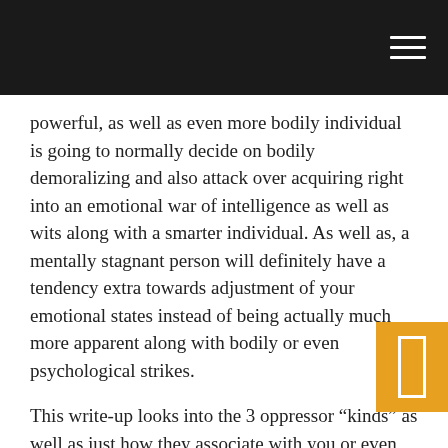powerful, as well as even more bodily individual is going to normally decide on bodily demoralizing and also attack over acquiring right into an emotional war of intelligence as well as wits along with a smarter individual. As well as, a mentally stagnant person will definitely have a tendency extra towards adjustment of your emotional states instead of being actually much more apparent along with bodily or even psychological strikes.
This write-up looks into the 3 oppressor “kinds” as well as just how they associate with you or even any individual that is actually being actually harassed. Since, unless you know the attributes of the aggressor, and also what is actually responsible for his style of assault, you actually can not count on to become extremely efficient.
My objective in this short article is actually certainly